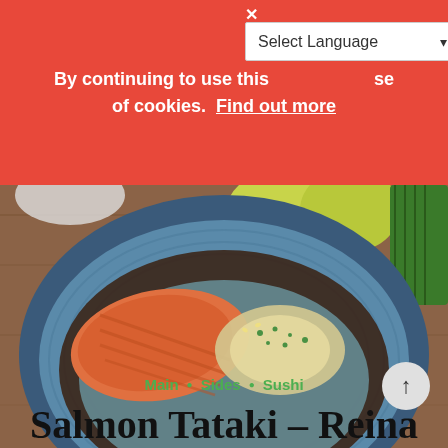By continuing to use this site you agree to our use of cookies. Find out more
[Figure (screenshot): Dropdown selector showing 'Select Language' with a dropdown arrow]
[Figure (photo): Salmon tataki dish served in a blue ceramic bowl with dark sauce and garnishes, lemons visible in background on wooden surface]
Main • Sides • Sushi
Salmon Tataki – Reina